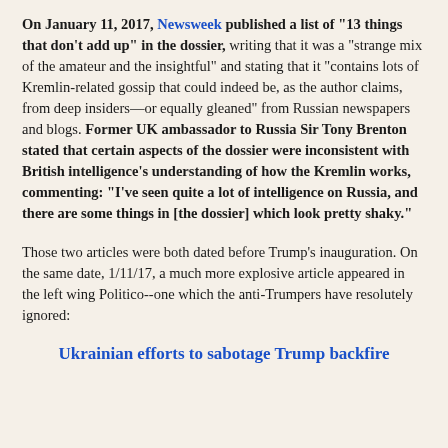On January 11, 2017, Newsweek published a list of "13 things that don't add up" in the dossier, writing that it was a "strange mix of the amateur and the insightful" and stating that it "contains lots of Kremlin-related gossip that could indeed be, as the author claims, from deep insiders—or equally gleaned" from Russian newspapers and blogs. Former UK ambassador to Russia Sir Tony Brenton stated that certain aspects of the dossier were inconsistent with British intelligence's understanding of how the Kremlin works, commenting: "I've seen quite a lot of intelligence on Russia, and there are some things in [the dossier] which look pretty shaky."
Those two articles were both dated before Trump's inauguration. On the same date, 1/11/17, a much more explosive article appeared in the left wing Politico--one which the anti-Trumpers have resolutely ignored:
Ukrainian efforts to sabotage Trump backfire